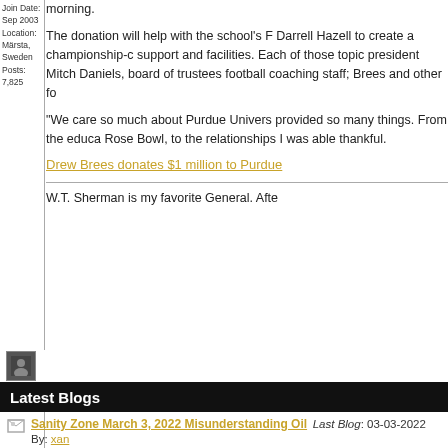Join Date: Sep 2003
Location: Märsta, Sweden
Posts: 7,825
morning.
The donation will help with the school's F... Darrell Hazell to create a championship-c... support and facilities. Each of those topic... president Mitch Daniels, board of trustees... football coaching staff; Brees and other fo...
"We care so much about Purdue Univers... provided so many things. From the educa... Rose Bowl, to the relationships I was able... thankful.
Drew Brees donates $1 million to Purdue
W.T. Sherman is my favorite General. Afte...
[Figure (photo): User avatar thumbnail - small square dark icon]
Latest Blogs
Sanity Zone March 3, 2022 Misunderstanding Oil Last Blog: 03-03-2022 By: xan
2022 NFL Draft: Draft Prospects, Scouting Last Blog: 02-01-2022 By: K Major
2021 New Orleans Saints Rebuild - Quarterback Last Blog: 01-18-2021 By: jeanpierre